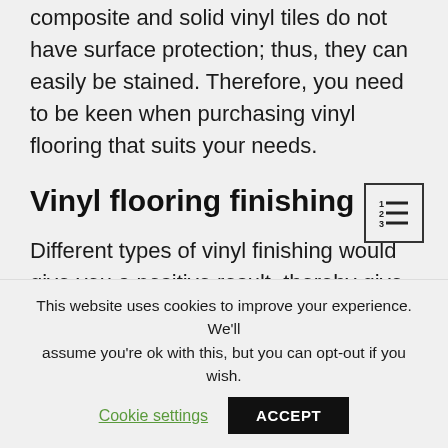composite and solid vinyl tiles do not have surface protection; thus, they can easily be stained. Therefore, you need to be keen when purchasing vinyl flooring that suits your needs.
Vinyl flooring finishing
[Figure (other): Table of contents icon: a small box with lines representing numbered list items (1, 2, 3) with horizontal bars next to each number]
Different types of vinyl finishing would give you a positive result, thereby give your floor a good impression. The three types of vinyl flooring you get to choose
This website uses cookies to improve your experience. We'll assume you're ok with this, but you can opt-out if you wish.
Cookie settings   ACCEPT